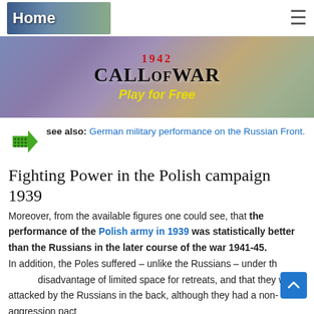Home
[Figure (screenshot): Call of War 1942 game advertisement banner with map background and 'Play for Free' text]
see also: German military performance on the Russian Front.
Fighting Power in the Polish campaign 1939
Moreover, from the available figures one could see, that the performance of the Polish army in 1939 was statistically better than the Russians in the later course of the war 1941-45. In addition, the Poles suffered – unlike the Russians – under the disadvantage of limited space for retreats, and that they were attacked by the Russians in the back, although they had a non-aggression pact